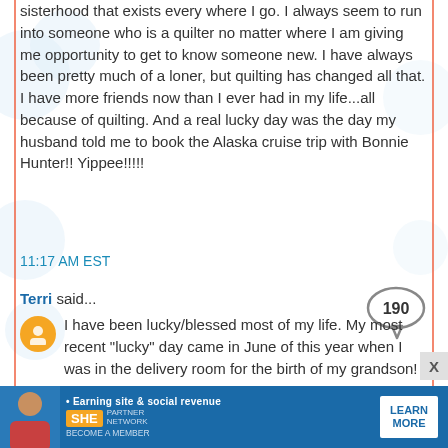sisterhood that exists every where I go. I always seem to run into someone who is a quilter no matter where I am giving me opportunity to get to know someone new. I have always been pretty much of a loner, but quilting has changed all that. I have more friends now than I ever had in my life...all because of quilting. And a real lucky day was the day my husband told me to book the Alaska cruise trip with Bonnie Hunter!! Yippee!!!!!
11:17 AM EST
Terri said...
[Figure (infographic): Speech bubble with number 190 inside]
I have been lucky/blessed most of my life. My most recent "lucky" day came in June of this year when I was in the delivery room for the birth of my grandson! My daughter had said she only wanted my son-in-law with her for delivery and I respected her decision, but when the time came they asked me to stay! It was the most incredible experience of my life
[Figure (infographic): Advertisement banner: SHE Partner Network - Earning site & social revenue. LEARN MORE button.]